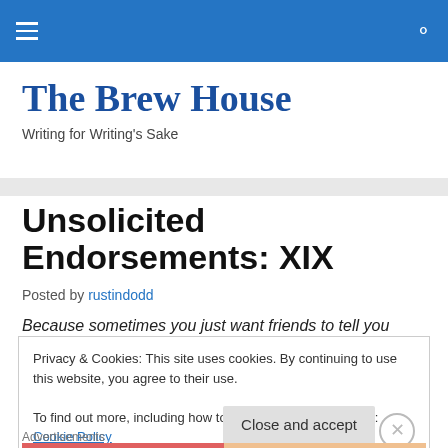The Brew House — navigation bar
The Brew House
Writing for Writing's Sake
Unsolicited Endorsements: XIX
Posted by rustindodd
Because sometimes you just want friends to tell you about
Privacy & Cookies: This site uses cookies. By continuing to use this website, you agree to their use. To find out more, including how to control cookies, see here: Cookie Policy
Advertisements